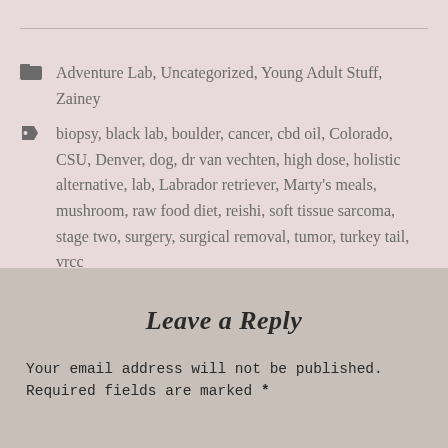Adventure Lab, Uncategorized, Young Adult Stuff, Zainey
biopsy, black lab, boulder, cancer, cbd oil, Colorado, CSU, Denver, dog, dr van vechten, high dose, holistic alternative, lab, Labrador retriever, Marty's meals, mushroom, raw food diet, reishi, soft tissue sarcoma, stage two, surgery, surgical removal, tumor, turkey tail, vrcc
Leave a Reply
Your email address will not be published. Required fields are marked *